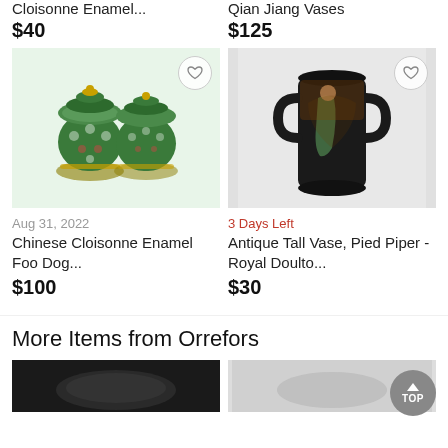Cloisonne Enamel...
$40
Qian Jiang Vases
$125
[Figure (photo): Two green cloisonne enamel lidded jars with foo dog finials and floral patterns]
[Figure (photo): Antique tall black vase with handles showing Pied Piper figure painted on it - Royal Doulton style]
Aug 31, 2022
3 Days Left
Chinese Cloisonne Enamel Foo Dog...
$100
Antique Tall Vase, Pied Piper - Royal Doulto...
$30
More Items from Orrefors
[Figure (photo): Partial view of an Orrefors item, appears dark/black]
[Figure (photo): Partial view of another Orrefors item]